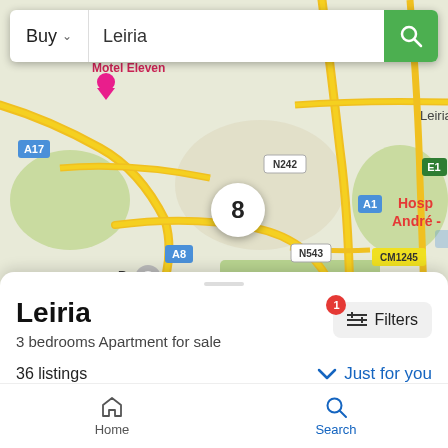[Figure (screenshot): Google Maps view of Leiria, Portugal showing roads A17, N242, A8, N113, A1, E1, N543, CM1245, locations including Parceiros, Padrão, VIDIGAL DE BAIXO, Motel Eleven, PRF - Gas Solutions, Cool Park, and Leiria city center with a hospital marker (H). A white circular cluster badge showing '8' appears in the center of the map.]
Buy
Leiria
Leiria
3 bedrooms Apartment for sale
36 listings
Just for you
[Figure (photo): Partial listing photo showing a modern interior/exterior building detail, partially cropped at the bottom of the screen.]
Home
Search